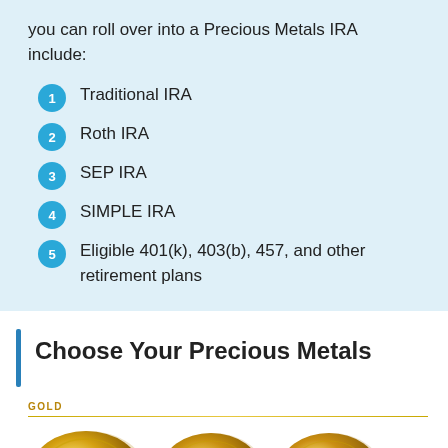you can roll over into a Precious Metals IRA include:
Traditional IRA
Roth IRA
SEP IRA
SIMPLE IRA
Eligible 401(k), 403(b), 457, and other retirement plans
Choose Your Precious Metals
[Figure (photo): Three gold coins displayed in a row under a 'GOLD' label with a gold horizontal line above them.]